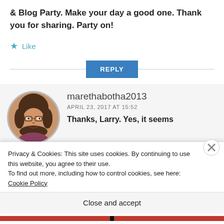& Blog Party. Make your day a good one. Thank you for sharing. Party on!
★ Like
REPLY
[Figure (photo): Circular avatar photo of a woman with brown hair and glasses]
marethabotha2013
APRIL 23, 2017 AT 15:52
Thanks, Larry. Yes, it seems
Privacy & Cookies: This site uses cookies. By continuing to use this website, you agree to their use.
To find out more, including how to control cookies, see here: Cookie Policy
Close and accept